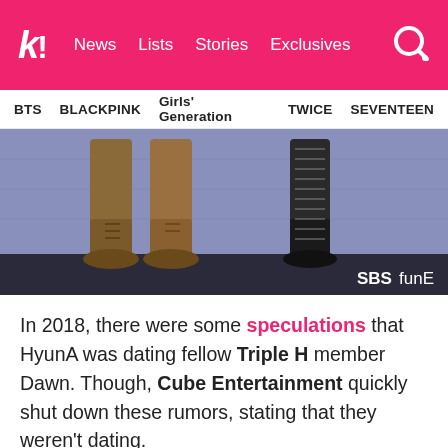k! News Lists Stories Exclusives [search]
BTS  BLACKPINK  Girls' Generation  TWICE  SEVENTEEN
[Figure (photo): Close-up photo of two people's legs/boots on a stage, with an 'SBSfunE' watermark in the bottom right corner.]
In 2018, there were some speculations that HyunA was dating fellow Triple H member Dawn. Though, Cube Entertainment quickly shut down these rumors, stating that they weren't dating.
[Figure (photo): Partial bottom image, partially visible, showing a colorful background.]